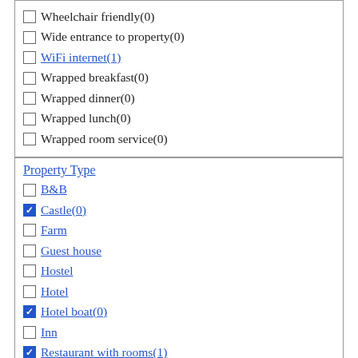Wheelchair friendly(0)
Wide entrance to property(0)
WiFi internet(1)
Wrapped breakfast(0)
Wrapped dinner(0)
Wrapped lunch(0)
Wrapped room service(0)
Property Type
B&B
Castle(0) [checked]
Farm
Guest house
Hostel
Hotel
Hotel boat(0) [checked]
Inn
Restaurant with rooms(1) [checked]
Townhouse hotel(0) [checked]
Travel accommodation
clear [x]
Type of Stay